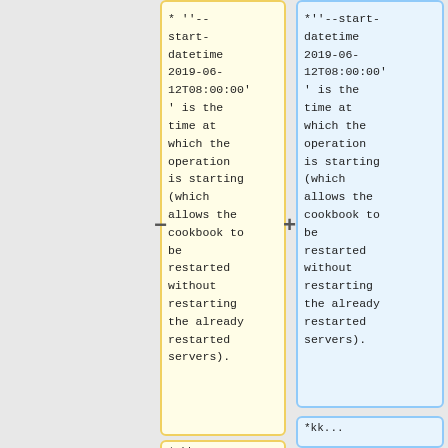* ''--start-datetime 2019-06-12T08:00:00'' is the time at which the operation is starting (which allows the cookbook to be restarted without restarting the already restarted servers).
*''--start-datetime 2019-06-12T08:00:00'' is the time at which the operation is starting (which allows the cookbook to be restarted without restarting the already restarted servers).